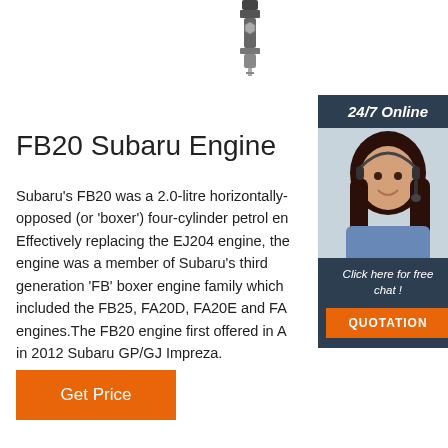[Figure (photo): Spark plug photograph at top center of page]
FB20 Subaru Engine
Subaru's FB20 was a 2.0-litre horizontally-opposed (or 'boxer') four-cylinder petrol engine. Effectively replacing the EJ204 engine, the FB20 engine was a member of Subaru's third generation 'FB' boxer engine family which included the FB25, FA20D, FA20E and FA20F engines.The FB20 engine first offered in Australia in 2012 Subaru GP/GJ Impreza.
[Figure (photo): Sidebar widget with dark blue background showing a woman with headset and '24/7 Online' header, 'Click here for free chat!' text and QUOTATION button]
Get Price